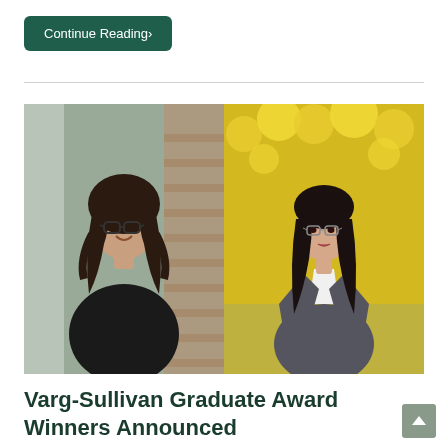Continue Reading›
[Figure (photo): Two women side by side: left photo shows a woman with dark wavy hair, glasses, black turtleneck, smiling with arms crossed against a brick wall and window backdrop; right photo shows a woman with long dark hair, glasses, grey blazer over white shirt, standing in front of bright yellow flowering bushes.]
Varg-Sullivan Graduate Award Winners Announced